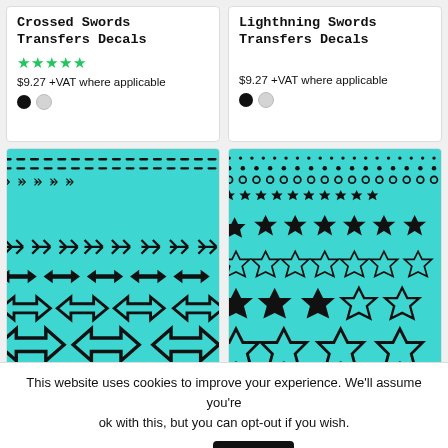Crossed Swords Transfers Decals
★★★★★
$9.27 +VAT where applicable
[Figure (other): Two color swatches: black filled circle and light gray filled circle]
Lighthning Swords Transfers Decals
$9.27 +VAT where applicable
[Figure (other): Two color swatches: black filled circle and light gray filled circle]
[Figure (photo): Teal/turquoise decal sheet with rows of double-headed arrow symbols in black, curling slightly at bottom corner]
Double Headed Arrows
[Figure (photo): Teal/turquoise decal sheet with rows of explosion/burst symbols in black of varying sizes, curling slightly at bottom corner]
Explosions Transfers
This website uses cookies to improve your experience. We'll assume you're ok with this, but you can opt-out if you wish.
Settings
COOL!